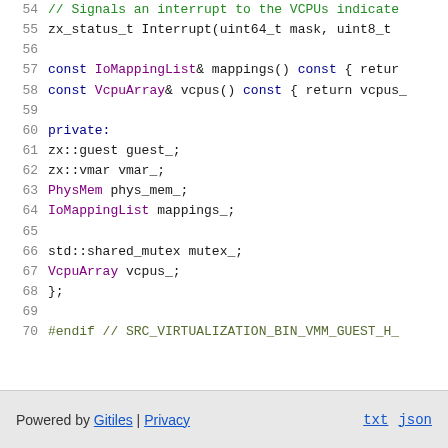[Figure (screenshot): Source code viewer showing C++ header file lines 54-70, with syntax highlighting. Green for comments, blue for keywords, purple for type names, olive/yellow for preprocessor directives.]
Powered by Gitiles | Privacy    txt  json